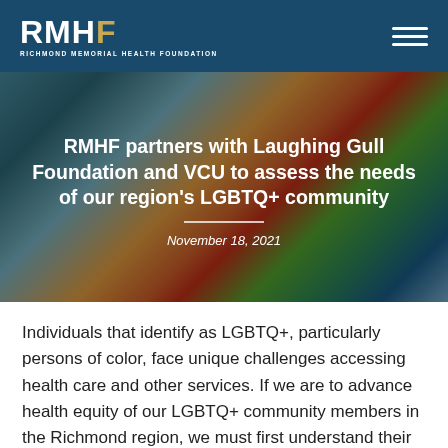RMHF - RICHMOND MEMORIAL HEALTH FOUNDATION
[Figure (photo): Rainbow pride flags against a blue sky with a dark overlay, serving as a hero banner image]
RMHF partners with Laughing Gull Foundation and VCU to assess the needs of our region's LGBTQ+ community
November 18, 2021
Individuals that identify as LGBTQ+, particularly persons of color, face unique challenges accessing health care and other services. If we are to advance health equity of our LGBTQ+ community members in the Richmond region, we must first understand their needs and challenges of receiving culturally competent care and